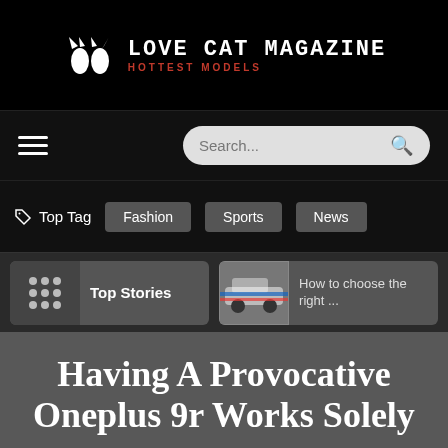LOVE CAT MAGAZINE — HOTTEST MODELS
Search...
Top Tag  Fashion  Sports  News
Top Stories
How to choose the right ...
Having A Provocative Oneplus 9r Works Solely